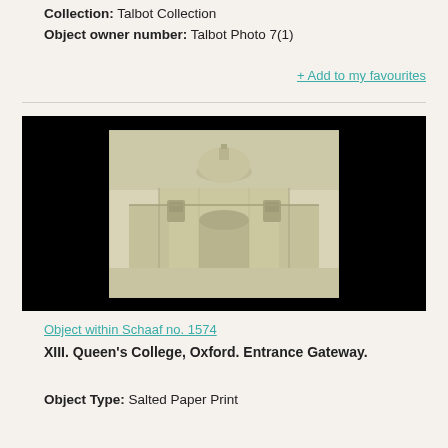Collection: Talbot Collection
Object owner number: Talbot Photo 7(1)
+ Add to my favourites
[Figure (photo): Faded sepia-toned salted paper print of Queen's College Oxford Entrance Gateway, showing a domed building with classical architecture, set against a black background display]
Object within Schaaf no. 1574
XIII. Queen's College, Oxford. Entrance Gateway.
Object Type: Salted Paper Print